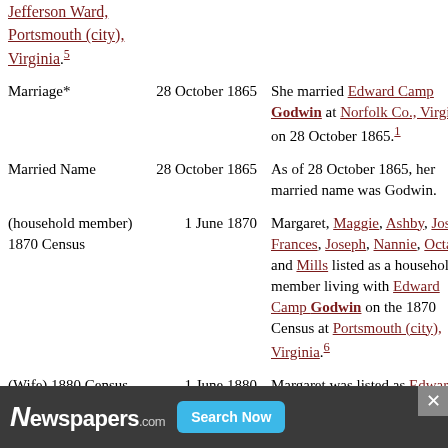Jefferson Ward, Portsmouth (city), Virginia.5
| Event | Date | Description |
| --- | --- | --- |
| Marriage* | 28 October 1865 | She married Edward Camp Godwin at Norfolk Co., Virginia, on 28 October 1865.1 |
| Married Name | 28 October 1865 | As of 28 October 1865, her married name was Godwin. |
| (household member) 1870 Census | 1 June 1870 | Margaret, Maggie, Ashby, Joseph, Frances, Joseph, Nannie, Octavia and Mills listed as a household member living with Edward Camp Godwin on the 1870 Census at Portsmouth (city), Virginia.6 |
| (Wife) 1880 Census | 1 June 1880 | Margaret was listed as Edward Camp Godwin's wife on the 1880 Census |
[Figure (other): Advertisement banner for Newspapers.com with Search Now button and close X button]